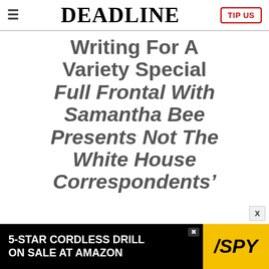≡  DEADLINE  TIP US
Writing For A Variety Special Full Frontal With Samantha Bee Presents Not The White House Correspondents'
[Figure (other): Advertisement banner: 5-STAR CORDLESS DRILL ON SALE AT AMAZON with SPY logo on yellow background]